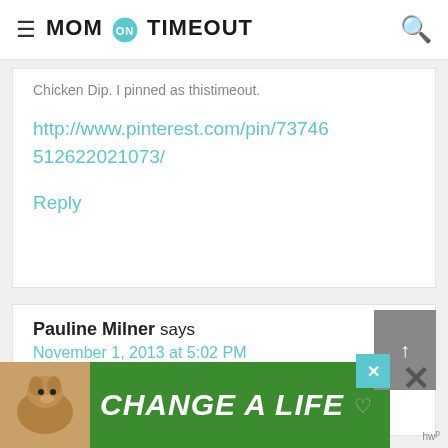MOM ON TIMEOUT
Chicken Dip. I pinned as thistimeout.
http://www.pinterest.com/pin/737465126220210 73/
Reply
Pauline Milner says
November 1, 2013 at 5:02 PM
I am going to try the Italian Chicken
[Figure (screenshot): Advertisement banner: green background with dog image and text CHANGE A LIFE]